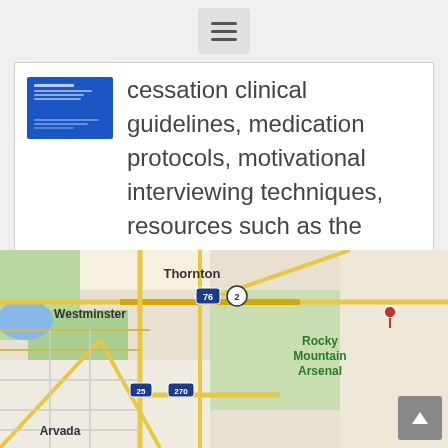Navigation menu button (hamburger icon)
[Figure (screenshot): Blue thumbnail image of a document/slide with white text lines]
cessation clinical guidelines, medication protocols, motivational interviewing techniques, resources such as the Colorado QuitLine, and guidance on addressing emerging tobacco products such as e-cigarettes.
[Figure (map): Google Maps view showing Thornton, Westminster, Arvada, Rocky Mountain Arsenal area in Colorado, with highways 76, 2, 25, 270 marked]